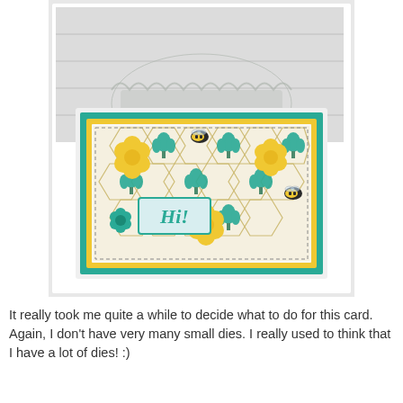[Figure (photo): A handmade greeting card with a hexagonal bee/tulip patterned paper in teal and yellow, decorated with yellow flower die-cuts, small bee stamps, and a 'Hi!' sentiment tag. The card is layered on teal and yellow cardstock, displayed against a white wood plank background with a decorative silver doily/metal die-cut piece behind it.]
It really took me quite a while to decide what to do for this card.  Again, I don't have very many small dies.  I really used to think that I have a lot of dies!  :)